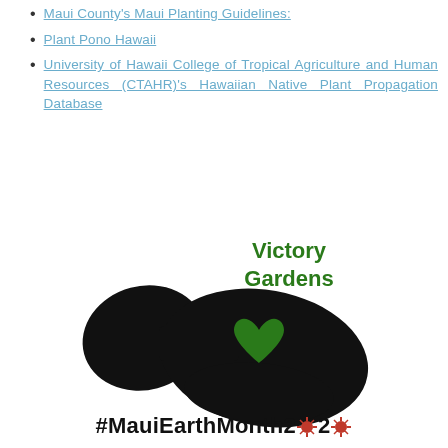Maui County's Maui Planting Guidelines:
Plant Pono Hawaii
University of Hawaii College of Tropical Agriculture and Human Resources (CTAHR)'s Hawaiian Native Plant Propagation Database
[Figure (illustration): Black silhouette of Maui island with a green heart in the center and 'Victory Gardens' text in bold green above it]
#MauiEarthMonth2020